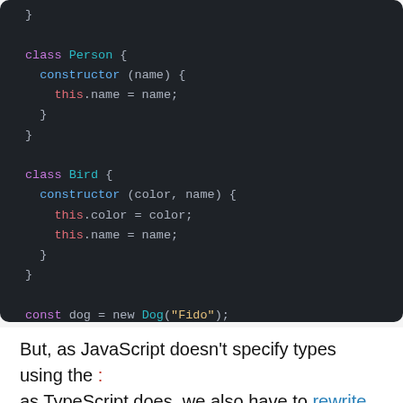[Figure (screenshot): Dark-themed code editor screenshot showing JavaScript class definitions for Person and Bird, and const declarations for dog, person, and bird instances.]
But, as JavaScript doesn't specify types using the : as TypeScript does, we also have to rewrite our